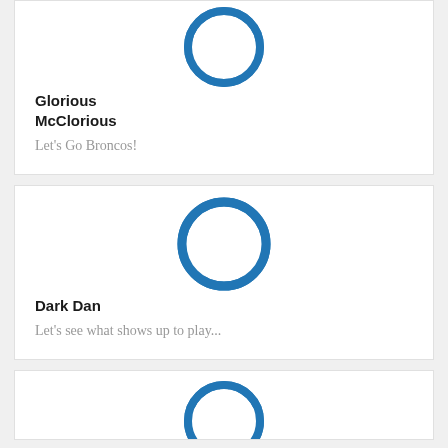[Figure (logo): Blue power button icon circle logo]
Glorious McClorious
Let's Go Broncos!
[Figure (logo): Blue power button icon circle logo]
Dark Dan
Let's see what shows up to play...
[Figure (logo): Blue power button icon circle logo (partially visible)]